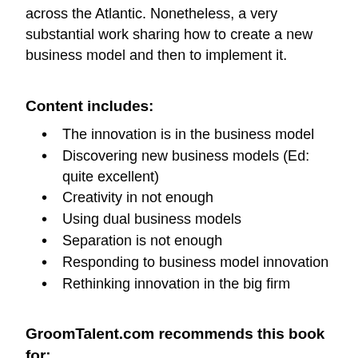across the Atlantic. Nonetheless, a very substantial work sharing how to create a new business model and then to implement it.
Content includes:
The innovation is in the business model
Discovering new business models (Ed: quite excellent)
Creativity in not enough
Using dual business models
Separation is not enough
Responding to business model innovation
Rethinking innovation in the big firm
GroomTalent.com recommends this book for:
A powerful checklist of action steps to generate new business models
And reminding us that implementation– follow through, follow through– is paramount but often